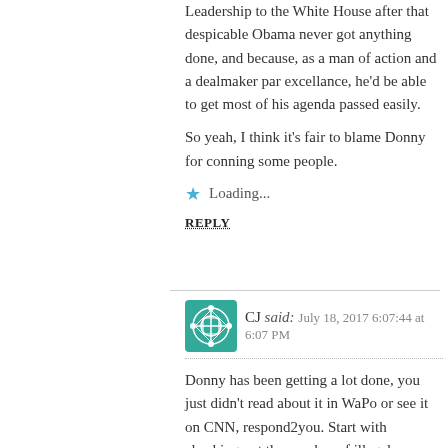Leadership to the White House after that despicable Obama never got anything done, and because, as a man of action and a dealmaker par excellance, he'd be able to get most of his agenda passed easily.
So yeah, I think it's fair to blame Donny for conning some people.
Loading...
REPLY
CJ said: July 18, 2017 6:07:44 at 6:07 PM
Donny has been getting a lot done, you just didn't read about it in WaPo or see it on CNN, respond2you. Start with checking out the number of illegals coming in now, and Donny hasn't even started building a wall yet. The people working for the Border Patrol love Donny.
Loading...